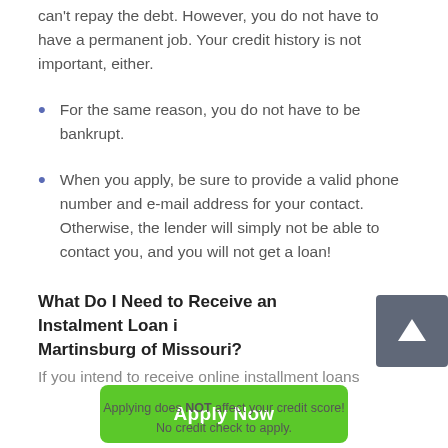can't repay the debt. However, you do not have to have a permanent job. Your credit history is not important, either.
For the same reason, you do not have to be bankrupt.
When you apply, be sure to provide a valid phone number and e-mail address for your contact. Otherwise, the lender will simply not be able to contact you, and you will not get a loan!
What Do I Need to Receive an Instalment Loan in Martinsburg of Missouri?
If you intend to receive online installment loans
[Figure (other): Green Apply Now button]
Applying does NOT affect your credit score!
No credit check to apply.